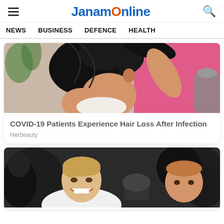JanamOnline
NEWS   BUSINESS   DEFENCE   HEALTH
[Figure (photo): Woman touching her hair, viewed from behind, with a pink background]
COVID-19 Patients Experience Hair Loss After Infection
Herbeauty
[Figure (photo): Young man smiling while exercising with weights, another person visible nearby]